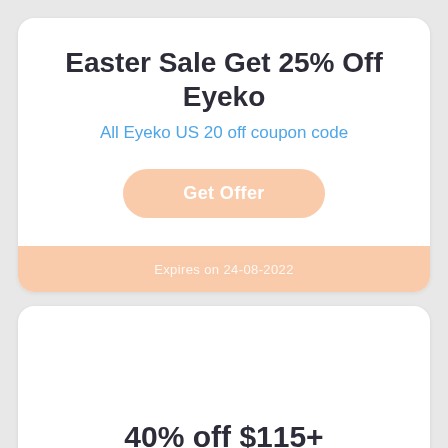Easter Sale Get 25% Off Eyeko
All Eyeko US 20 off coupon code
Get Offer
Expires on 24-08-2022
40% off $115+